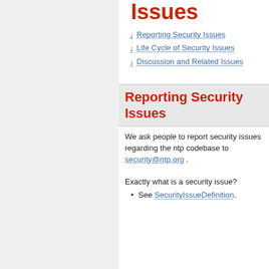Issues
Reporting Security Issues
Life Cycle of Security Issues
Discussion and Related Issues
Reporting Security Issues
We ask people to report security issues regarding the ntp codebase to security@ntp.org .
Exactly what is a security issue?
See SecurityIssueDefinition.